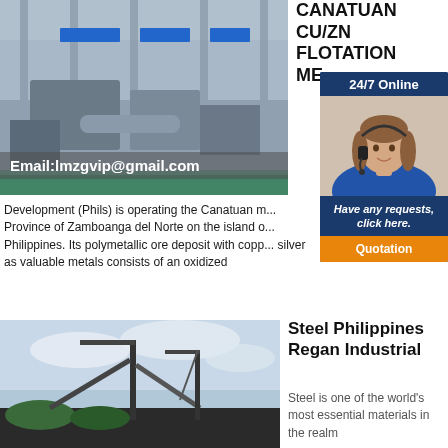[Figure (photo): Industrial factory floor with machinery and equipment, blue signage visible in background]
Email:lmzgvip@gmail.com
CANATUAN CU/ZN FLOTATION ME...
[Figure (infographic): 24/7 Online chat widget with female customer service agent wearing headset, 'Have any requests, click here.' and Quotation button]
Development (Phils) is operating the Canatuan m... Province of Zamboanga del Norte on the island o... Philippines. Its polymetallic ore deposit with copp... silver as valuable metals consists of an oxidized
[Figure (photo): Industrial mining/crushing equipment with cranes and conveyor belts against a cloudy sky]
Steel Philippines Regan Industrial
Steel is one of the world's most essential materials in the realm